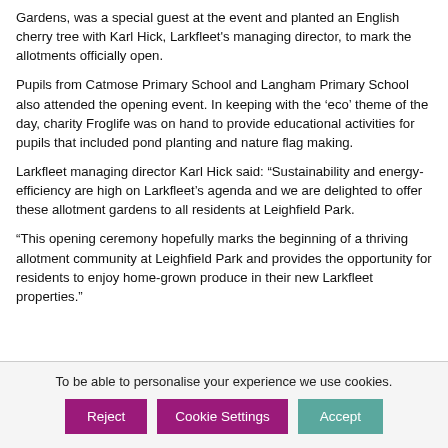Gardens, was a special guest at the event and planted an English cherry tree with Karl Hick, Larkfleet's managing director, to mark the allotments officially open.
Pupils from Catmose Primary School and Langham Primary School also attended the opening event. In keeping with the ‘eco’ theme of the day, charity Froglife was on hand to provide educational activities for pupils that included pond planting and nature flag making.
Larkfleet managing director Karl Hick said: “Sustainability and energy-efficiency are high on Larkfleet’s agenda and we are delighted to offer these allotment gardens to all residents at Leighfield Park.
“This opening ceremony hopefully marks the beginning of a thriving allotment community at Leighfield Park and provides the opportunity for residents to enjoy home-grown produce in their new Larkfleet properties.”
To be able to personalise your experience we use cookies.
Reject
Cookie Settings
Accept